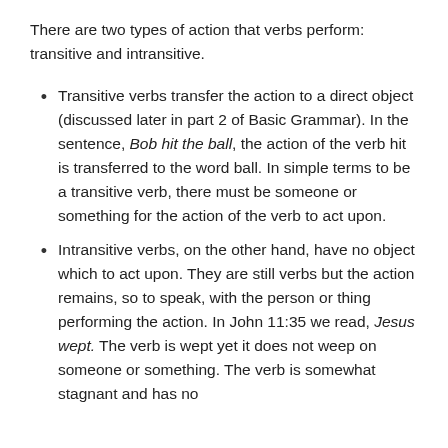There are two types of action that verbs perform: transitive and intransitive.
Transitive verbs transfer the action to a direct object (discussed later in part 2 of Basic Grammar). In the sentence, Bob hit the ball, the action of the verb hit is transferred to the word ball. In simple terms to be a transitive verb, there must be someone or something for the action of the verb to act upon.
Intransitive verbs, on the other hand, have no object which to act upon. They are still verbs but the action remains, so to speak, with the person or thing performing the action. In John 11:35 we read, Jesus wept. The verb is wept yet it does not weep on someone or something. The verb is somewhat stagnant and has no